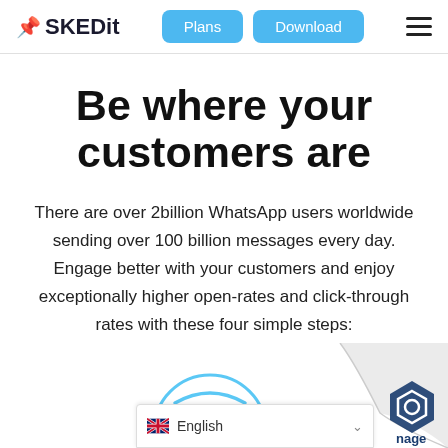SKEDit — Plans | Download | Menu
Be where your customers are
There are over 2billion WhatsApp users worldwide sending over 100 billion messages every day. Engage better with your customers and enjoy exceptionally higher open-rates and click-through rates with these four simple steps:
[Figure (screenshot): Partial view of a WiFi/connectivity icon inside a light blue circle, partially cut off at the bottom of the page, along with a page curl effect on the bottom right showing a blue hexagonal logo, and an English language selector bar.]